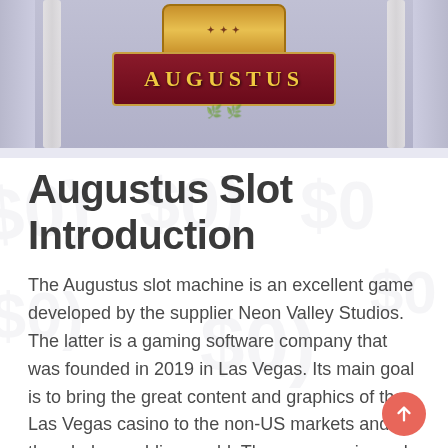[Figure (illustration): Augustus slot game banner image with gold and dark red maroon title 'AUGUSTUS' set against a Roman temple background with columns, on a grey background]
Augustus Slot Introduction
The Augustus slot machine is an excellent game developed by the supplier Neon Valley Studios. The latter is a gaming software company that was founded in 2019 in Las Vegas. Its main goal is to bring the great content and graphics of the Las Vegas casino to the non-US markets and to the whole gambling world. The company is made up of